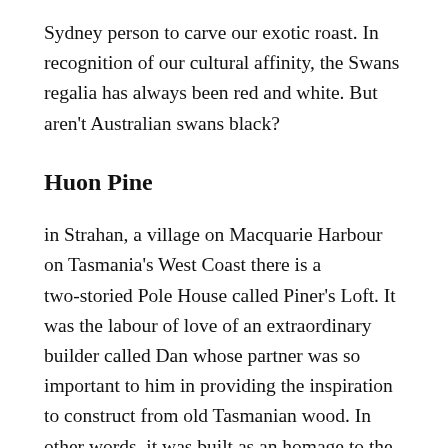Sydney person to carve our exotic roast. In recognition of our cultural affinity, the Swans regalia has always been red and white. But aren't Australian swans black?
Huon Pine
in Strahan, a village on Macquarie Harbour on Tasmania's West Coast there is a two-storied Pole House called Piner's Loft. It was the labour of love of an extraordinary builder called Dan whose partner was so important to him in providing the inspiration to construct from old Tasmanian wood. In other words, it was built as an homage to the Tasmanian forests. He used only recovered wood, except for the structural